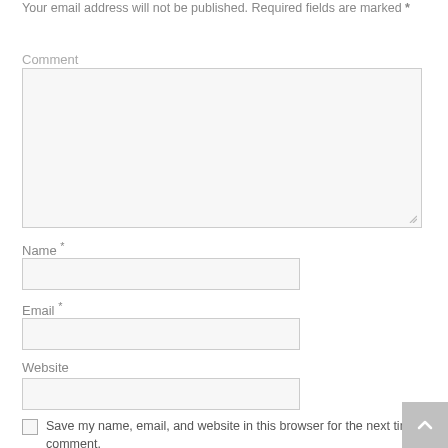Your email address will not be published. Required fields are marked *
Comment
Name *
Email *
Website
Save my name, email, and website in this browser for the next time I comment.